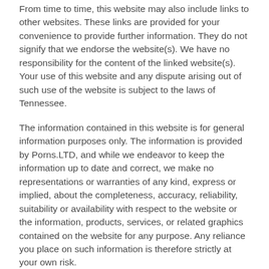From time to time, this website may also include links to other websites. These links are provided for your convenience to provide further information. They do not signify that we endorse the website(s). We have no responsibility for the content of the linked website(s). Your use of this website and any dispute arising out of such use of the website is subject to the laws of Tennessee.
The information contained in this website is for general information purposes only. The information is provided by Porns.LTD, and while we endeavor to keep the information up to date and correct, we make no representations or warranties of any kind, express or implied, about the completeness, accuracy, reliability, suitability or availability with respect to the website or the information, products, services, or related graphics contained on the website for any purpose. Any reliance you place on such information is therefore strictly at your own risk.
In no event will we be liable for any loss or damage including without limitation, indirect or consequential loss or damage, or any loss or damage whatsoever arising